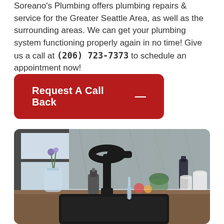Soreano's Plumbing offers plumbing repairs & service for the Greater Seattle Area, as well as the surrounding areas. We can get your plumbing system functioning properly again in no time! Give us a call at (206) 723-7373 to schedule an appointment now!
Request A Call Back —
[Figure (photo): Photo of a black kitchen faucet running water into a dark sink, with a glass vase of flowers, soap dispenser, and blurred kitchen items in the background]